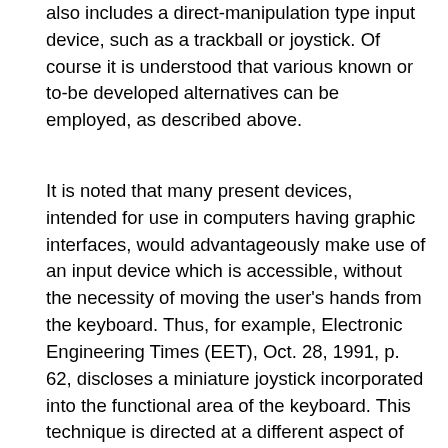also includes a direct-manipulation type input device, such as a trackball or joystick. Of course it is understood that various known or to-be developed alternatives can be employed, as described above.
It is noted that many present devices, intended for use in computers having graphic interfaces, would advantageously make use of an input device which is accessible, without the necessity of moving the user's hands from the keyboard. Thus, for example, Electronic Engineering Times (EET), Oct. 28, 1991, p. 62, discloses a miniature joystick incorporated into the functional area of the keyboard. This technique is directed at a different aspect of user interaction with a programmable device than certain preferred embodiments of the present invention, in that the input device does not have a minimal number of keys. While the device disclosed in EET is intended for use in a full function keyboard, the preferred embodiment of the present invention is directed towards the minimization of the number of keys and avoidance of superfluous keys by provision of a pointing device. Of course, the present invention could be used with a full function input device, where appropriate, and the joystick of EET is an alternative to other pointing devices.